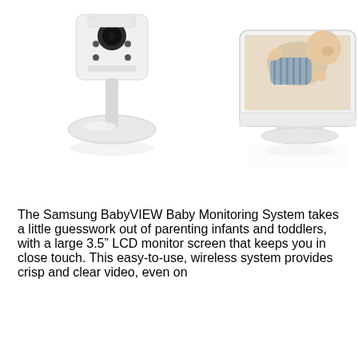[Figure (photo): Product photo of the Samsung BabyVIEW Baby Monitoring System showing a small white camera unit on the left and a larger white handheld monitor on the right displaying a baby in a blue striped outfit lying on its back smiling. Both units have a Summer Infant / Samsung branding. The photo is on a white background with subtle reflections beneath the units.]
The Samsung BabyVIEW Baby Monitoring System takes a little guesswork out of parenting infants and toddlers, with a large 3.5″ LCD monitor screen that keeps you in close touch. This easy-to-use, wireless system provides crisp and clear video, even on